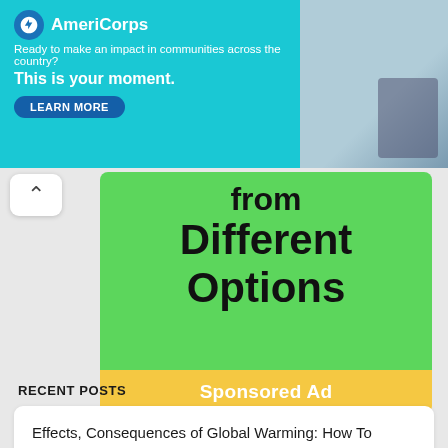[Figure (other): AmeriCorps banner advertisement: 'Ready to make an impact in communities across the country? This is your moment.' with LEARN MORE button and photo of person on right]
[Figure (other): Green advertisement block showing text 'from Different Options' with yellow 'Sponsored Ad' footer bar]
RECENT POSTS
Effects, Consequences of Global Warming: How To Overcome It
...